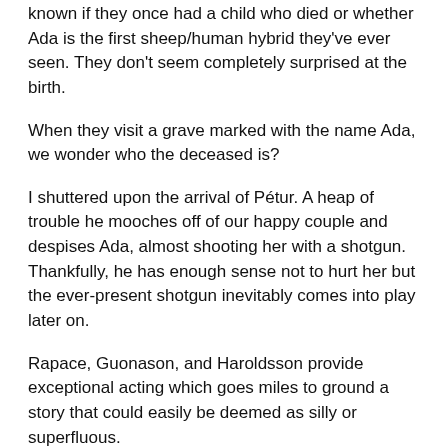known if they once had a child who died or whether Ada is the first sheep/human hybrid they've ever seen. They don't seem completely surprised at the birth.
When they visit a grave marked with the name Ada, we wonder who the deceased is?
I shuttered upon the arrival of Pétur. A heap of trouble he mooches off of our happy couple and despises Ada, almost shooting her with a shotgun. Thankfully, he has enough sense not to hurt her but the ever-present shotgun inevitably comes into play later on.
Rapace, Guonason, and Haroldsson provide exceptional acting which goes miles to ground a story that could easily be deemed as silly or superfluous.
Cinematographer, Eli Arenson, deserves major props for filming gorgeous Iceland location shots. Having visited this